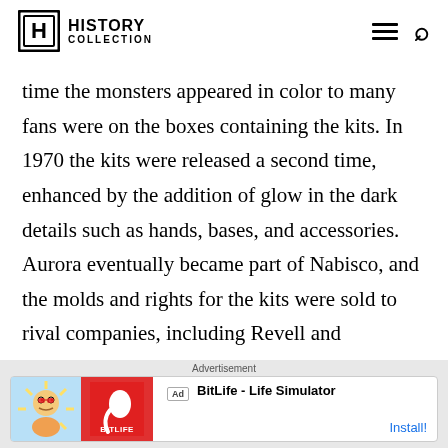HISTORY COLLECTION
time the monsters appeared in color to many fans were on the boxes containing the kits. In 1970 the kits were released a second time, enhanced by the addition of glow in the dark details such as hands, bases, and accessories. Aurora eventually became part of Nabisco, and the molds and rights for the kits were sold to rival companies, including Revell and Monogram. They continue to appear from
Advertisement
[Figure (screenshot): BitLife - Life Simulator advertisement banner with character illustration and red BitLife logo]